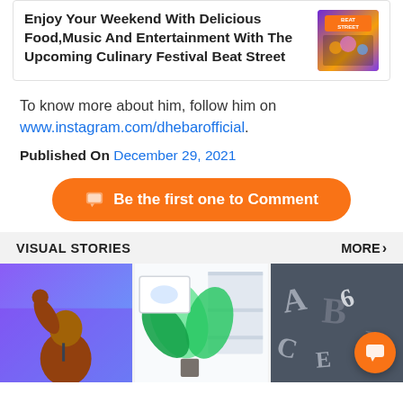[Figure (screenshot): Card with bold text: Enjoy Your Weekend With Delicious Food,Music And Entertainment With The Upcoming Culinary Festival Beat Street, with a purple/orange event poster thumbnail on the right]
To know more about him, follow him on www.instagram.com/dhebarofficial.
Published On December 29, 2021
[Figure (infographic): Orange rounded button: Be the first one to Comment]
VISUAL STORIES
MORE >
[Figure (photo): Man raising fist at event with blue/purple background]
[Figure (photo): Indoor plant with shelving and artwork]
[Figure (photo): Scattered metal letterpress letters AB C etc]